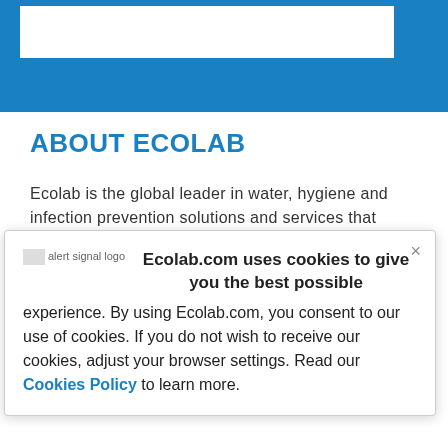[Figure (other): Blue header banner with white inner rectangle representing the Ecolab website navigation/logo area]
ABOUT ECOLAB
Ecolab is the global leader in water, hygiene and infection prevention solutions and services that
Ecolab.com uses cookies to give you the best possible experience. By using Ecolab.com, you consent to our use of cookies. If you do not wish to receive our cookies, adjust your browser settings. Read our Cookies Policy to learn more.